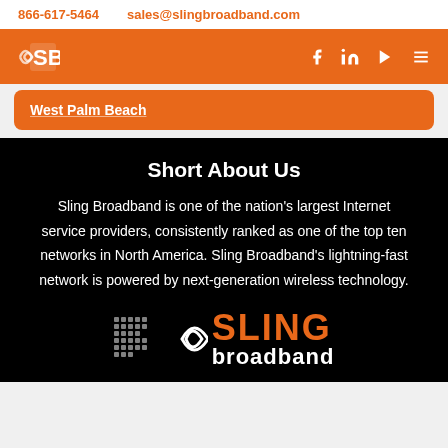866-617-5464   sales@slingbroadband.com
[Figure (logo): Sling Broadband logo and navigation bar with social icons (Facebook, LinkedIn, YouTube, menu)]
West Palm Beach
Short About Us
Sling Broadband is one of the nation's largest Internet service providers, consistently ranked as one of the top ten networks in North America. Sling Broadband's lightning-fast network is powered by next-generation wireless technology.
[Figure (logo): Sling Broadband logo with signal wave arcs, dotted pattern, and SLING broadband text]